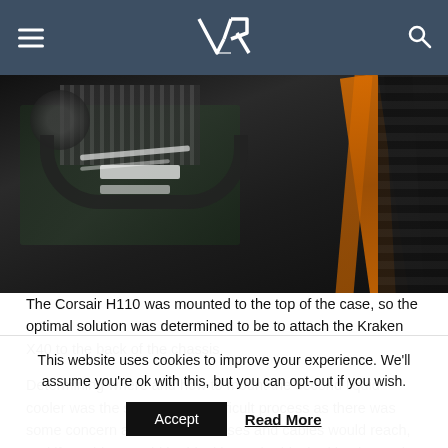VR logo with hamburger menu and search icon
[Figure (photo): Close-up photo of PC internals showing cables, cooler hoses, motherboard components including orange and black cables against dark background]
The Corsair H110 was mounted to the top of the case, so the optimal solution was determined to be to attach the Kraken X40 to the back of the chassis.
Determining where and how to mount the second liquid cooler was the second most difficult process as there was some concern as to how the hoses and cables would reach, and if anything would be blocking or be blocked by the cooler.
This website uses cookies to improve your experience. We'll assume you're ok with this, but you can opt-out if you wish.